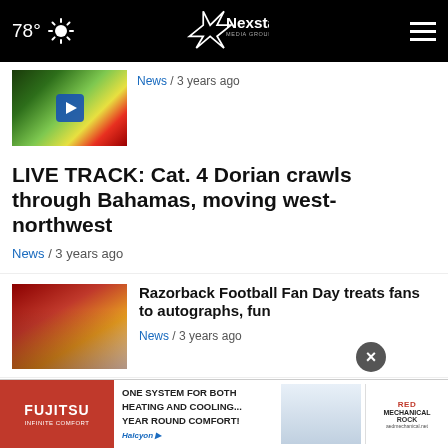78° | Nexstar Media Group
[Figure (screenshot): Thumbnail of radar/weather image with play button]
News / 3 years ago
LIVE TRACK: Cat. 4 Dorian crawls through Bahamas, moving west-northwest
News / 3 years ago
[Figure (photo): Razorback Football Fan Day — fans at autograph tables]
Razorback Football Fan Day treats fans to autographs, fun
News / 3 years ago
[Figure (photo): Two mugshot photos of pipeline protestors]
Two Mountain Valley Pipeline protestors arrested after they chained themselves to
[Figure (other): Fujitsu advertisement banner — One system for both heating and cooling... year round comfort!]